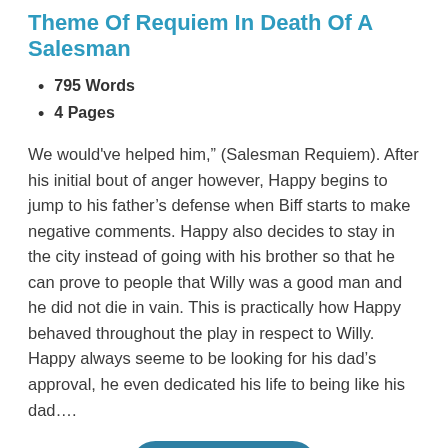Theme Of Requiem In Death Of A Salesman
795 Words
4 Pages
We would've helped him," (Salesman Requiem). After his initial bout of anger however, Happy begins to jump to his father's defense when Biff starts to make negative comments. Happy also decides to stay in the city instead of going with his brother so that he can prove to people that Willy was a good man and he did not die in vain. This is practically how Happy behaved throughout the play in respect to Willy. Happy always seeme to be looking for his dad's approval, he even dedicated his life to being like his dad....
Read More